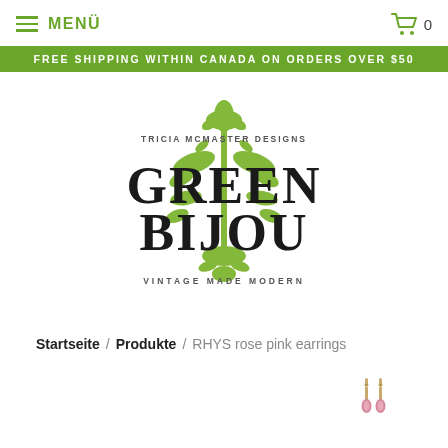MENÜ  [cart icon] 0
FREE SHIPPING WITHIN CANADA ON ORDERS OVER $50
[Figure (logo): Green Bijou logo — Tricia McMaster Designs, Green Bijou, Vintage Made Modern — green ornamental botanical illustration with black serif text]
Startseite / Produkte / RHYS rose pink earrings
[Figure (photo): Small product photo of RHYS rose pink earrings — two small gold drop earrings with pink stone beads]